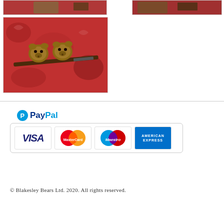[Figure (photo): Top left partial photo of animal/object on red patterned fabric]
[Figure (photo): Top right partial photo of animal/object on red patterned fabric]
[Figure (photo): Main photo showing two small animals (possibly mice or small rodents) mounted on a tool/instrument, placed on a red patterned carpet/fabric]
[Figure (logo): PayPal accepted payment methods banner showing PayPal logo, VISA, MasterCard, Maestro, and American Express card logos]
© Blakesley Bears Ltd. 2020. All rights reserved.